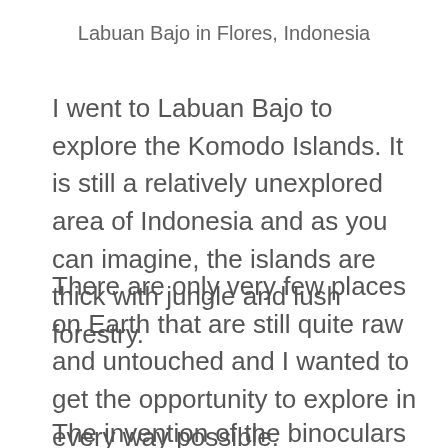Labuan Bajo in Flores, Indonesia
I went to Labuan Bajo to explore the Komodo Islands. It is still a relatively unexplored area of Indonesia and as you can imagine, the islands are thick with jungle and lush forestry.
There are only very few places on Earth that are still quite raw and untouched and I wanted to get the opportunity to explore in every way possible.
The invention of the binoculars by Galileo